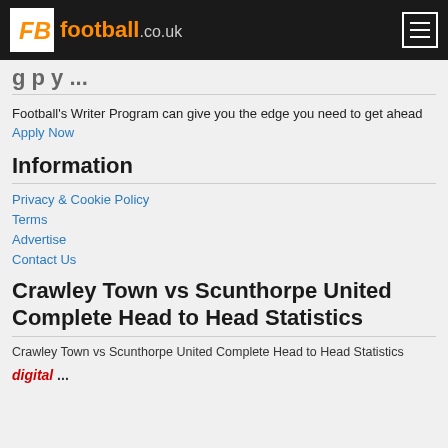FB football.co.uk
g p y ...
Football's Writer Program can give you the edge you need to get ahead Apply Now
Information
Privacy & Cookie Policy
Terms
Advertise
Contact Us
Crawley Town vs Scunthorpe United Complete Head to Head Statistics
Crawley Town vs Scunthorpe United Complete Head to Head Statistics
digital ...